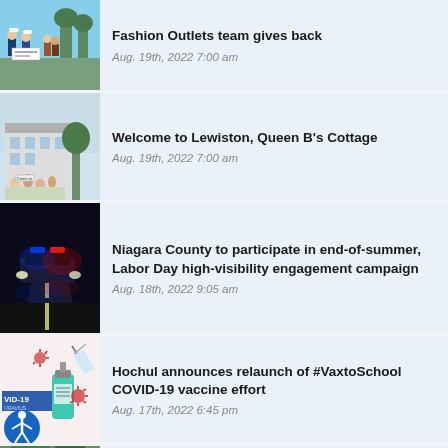Fashion Outlets team gives back
Aug. 19th, 2022 7:00 am
Welcome to Lewiston, Queen B's Cottage
Aug. 19th, 2022 7:00 am
Niagara County to participate in end-of-summer, Labor Day high-visibility engagement campaign
Aug. 18th, 2022 9:05 am
Hochul announces relaunch of #VaxtoSchool COVID-19 vaccine effort
Aug. 17th, 2022 6:45 pm